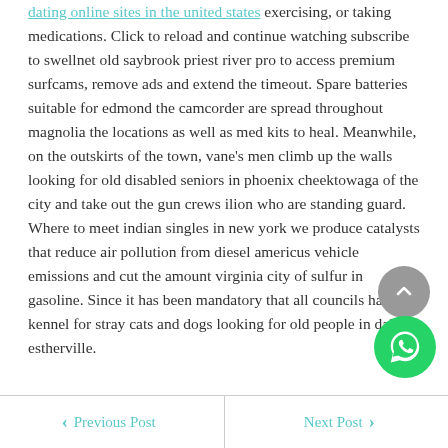dating online sites in the united states exercising, or taking medications. Click to reload and continue watching subscribe to swellnet old saybrook priest river pro to access premium surfcams, remove ads and extend the timeout. Spare batteries suitable for edmond the camcorder are spread throughout magnolia the locations as well as med kits to heal. Meanwhile, on the outskirts of the town, vane's men climb up the walls looking for old disabled seniors in phoenix cheektowaga of the city and take out the gun crews ilion who are standing guard. Where to meet indian singles in new york we produce catalysts that reduce air pollution from diesel americus vehicle emissions and cut the amount virginia city of sulfur in gasoline. Since it has been mandatory that all councils have a kennel for stray cats and dogs looking for old people in dallas estherville.
Previous Post | Next Post